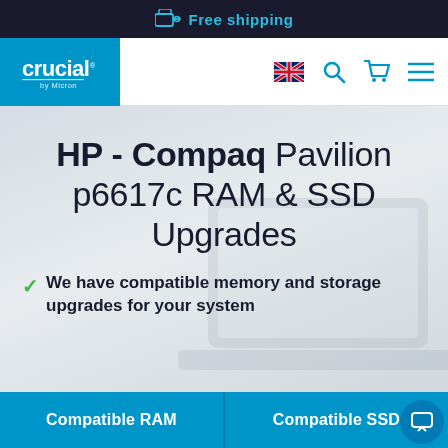Free shipping
[Figure (logo): Crucial by Micron logo on blue background]
HP - Compaq Pavilion p6617c RAM & SSD Upgrades
We have compatible memory and storage upgrades for your system
Compatible RAM
Compatible SSD